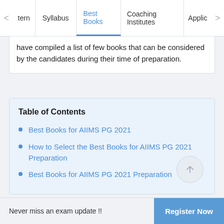tern | Syllabus | Best Books | Coaching Institutes | Applic
have compiled a list of few books that can be considered by the candidates during their time of preparation.
Table of Contents
Best Books for AIIMS PG 2021
How to Select the Best Books for AIIMS PG 2021 Preparation
Best Books for AIIMS PG 2021 Preparation
Never miss an exam update !!  Register Now